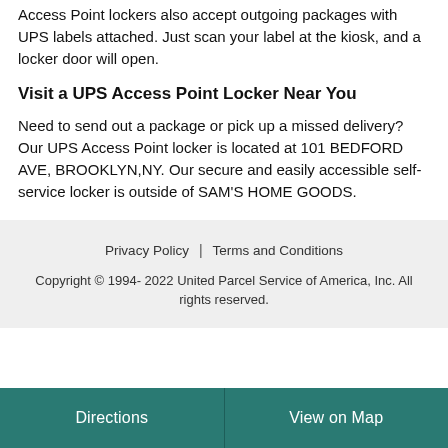Access Point lockers also accept outgoing packages with UPS labels attached. Just scan your label at the kiosk, and a locker door will open.
Visit a UPS Access Point Locker Near You
Need to send out a package or pick up a missed delivery? Our UPS Access Point locker is located at 101 BEDFORD AVE, BROOKLYN,NY. Our secure and easily accessible self-service locker is outside of SAM'S HOME GOODS.
Privacy Policy | Terms and Conditions
Copyright © 1994- 2022 United Parcel Service of America, Inc. All rights reserved.
Directions | View on Map